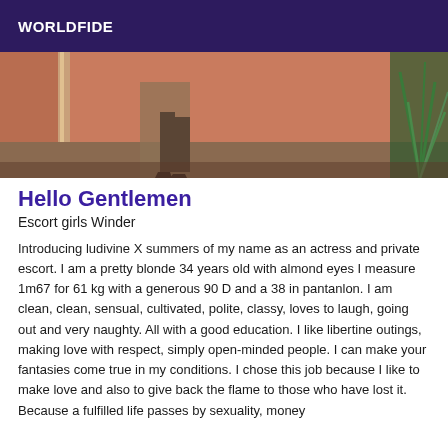WORLDFIDE
[Figure (photo): Partial view of a person's legs in heels standing near a pink/salmon colored wall with a green plant on the right side]
Hello Gentlemen
Escort girls Winder
Introducing ludivine X summers of my name as an actress and private escort. I am a pretty blonde 34 years old with almond eyes I measure 1m67 for 61 kg with a generous 90 D and a 38 in pantanlon. I am clean, clean, sensual, cultivated, polite, classy, loves to laugh, going out and very naughty. All with a good education. I like libertine outings, making love with respect, simply open-minded people. I can make your fantasies come true in my conditions. I chose this job because I like to make love and also to give back the flame to those who have lost it. Because a fulfilled life passes by sexuality, money and b...